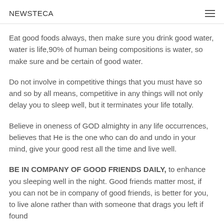NEWSTECA
Eat good foods always, then make sure you drink good water, water is life,90% of human being compositions is water, so make sure and be certain of good water.
Do not involve in competitive things that you must have so and so by all means, competitive in any things will not only delay you to sleep well, but it terminates your life totally.
Believe in oneness of GOD almighty in any life occurrences, believes that He is the one who can do and undo in your mind, give your good rest all the time and live well.
BE IN COMPANY OF GOOD FRIENDS DAILY, to enhance you sleeping well in the night. Good friends matter most, if you can not be in company of good friends, is better for you, to live alone rather than with someone that drags you left if found